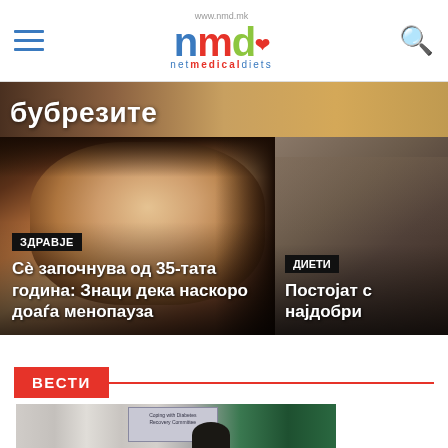www.nmd.mk — netmedicaldiets
[Figure (photo): Hero banner showing food bowls in background with white Cyrillic text 'бубрезите']
[Figure (photo): Woman with blonde hair - article about menopause signs starting at age 35. Tag: ЗДРАВЈЕ. Title: Сè започнува од 35-тата година: Знаци дека наскоро доаѓа менопауза]
[Figure (photo): Partial side card with tag ДИЕТИ and partial title text: Постојат ... најдобри]
ВЕСТИ
[Figure (photo): Conference or lecture room photo with projection screen showing 'Coping with Diabetes' presentation text, paintings on wall, green board visible]